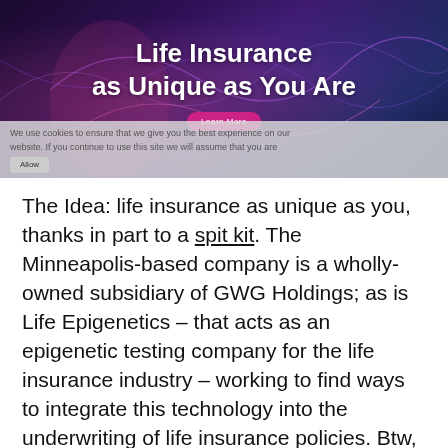[Figure (screenshot): Hero banner image for life insurance website with dark purple/blue background showing a stylized human figure with neural/DNA network lines. Text reads 'Life Insurance as Unique as You Are' with a pink 'Learn More' button.]
The Idea: life insurance as unique as you, thanks in part to a spit kit. The Minneapolis-based company is a wholly-owned subsidiary of GWG Holdings; as is Life Epigenetics – that acts as an epigenetic testing company for the life insurance industry – working to find ways to integrate this technology into the underwriting of life insurance policies. Btw, epigenetics is the study of how the DNA molecule's instructions are translated into